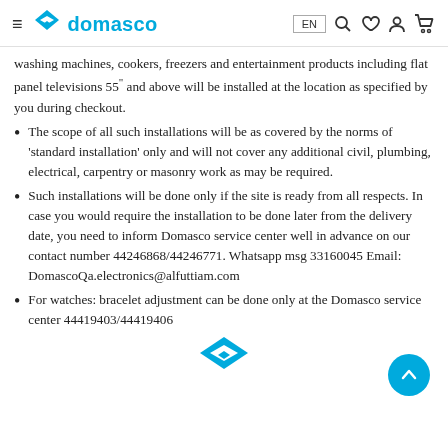domasco — EN — navigation icons
washing machines, cookers, freezers and entertainment products including flat panel televisions 55" and above will be installed at the location as specified by you during checkout.
The scope of all such installations will be as covered by the norms of 'standard installation' only and will not cover any additional civil, plumbing, electrical, carpentry or masonry work as may be required.
Such installations will be done only if the site is ready from all respects. In case you would require the installation to be done later from the delivery date, you need to inform Domasco service center well in advance on our contact number 44246868/44246771. Whatsapp msg 33160045 Email: DomascoQa.electronics@alfuttiam.com
For watches: bracelet adjustment can be done only at the Domasco service center 44419403/44419406
[Figure (logo): Domasco logo mark (diamond/arrow shape) at bottom center]